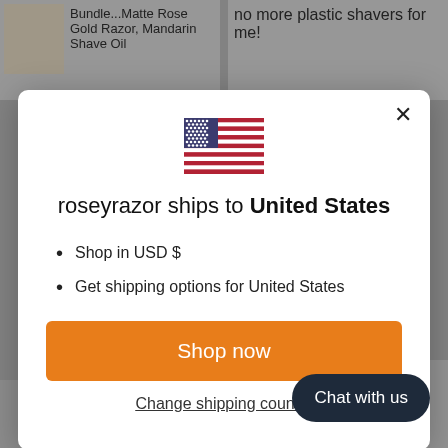Bundle...Matte Rose Gold Razor, Mandarin Shave Oil
no more plastic shavers for me!
[Figure (screenshot): US flag emoji displayed in modal dialog]
roseyrazor ships to United States
Shop in USD $
Get shipping options for United States
Shop now
Change shipping country
Chat with us